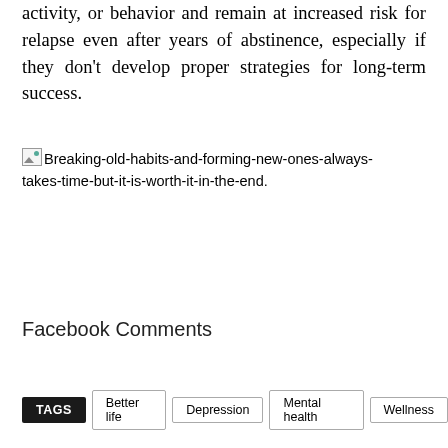activity, or behavior and remain at increased risk for relapse even after years of abstinence, especially if they don't develop proper strategies for long-term success.
[Figure (illustration): Broken image placeholder with alt text: Breaking-old-habits-and-forming-new-ones-always-takes-time-but-it-is-worth-it-in-the-end.]
Facebook Comments
TAGS  Better life  Depression  Mental health  Wellness